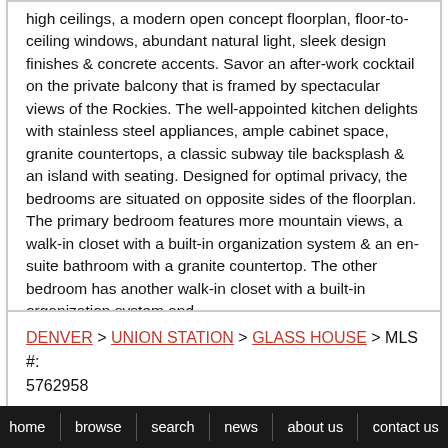high ceilings, a modern open concept floorplan, floor-to-ceiling windows, abundant natural light, sleek design finishes & concrete accents. Savor an after-work cocktail on the private balcony that is framed by spectacular views of the Rockies. The well-appointed kitchen delights with stainless steel appliances, ample cabinet space, granite countertops, a classic subway tile backsplash & an island with seating. Designed for optimal privacy, the bedrooms are situated on opposite sides of the floorplan. The primary bedroom features more mountain views, a walk-in closet with a built-in organization system & an en-suite bathroom with a granite countertop. The other bedroom has another walk-in closet with a built-in organization system and ...
Listing Courtesy of REDFIN CORPORATION
DENVER > UNION STATION > GLASS HOUSE > MLS #: 5762958
home   browse   search   news   about us   contact us